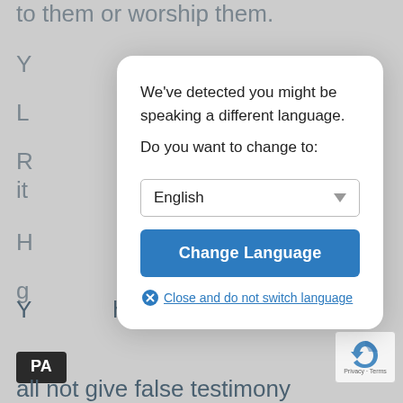to them or worship them.
Y
L
R ... g it
H
Y
Y
[Figure (screenshot): Modal dialog box with language detection prompt. Title text: 'We've detected you might be speaking a different language. Do you want to change to:'. Contains a dropdown selector showing 'English', a blue 'Change Language' button, and a 'Close and do not switch language' link with an X icon.]
You shall not steal.
PA
all not give false testimony